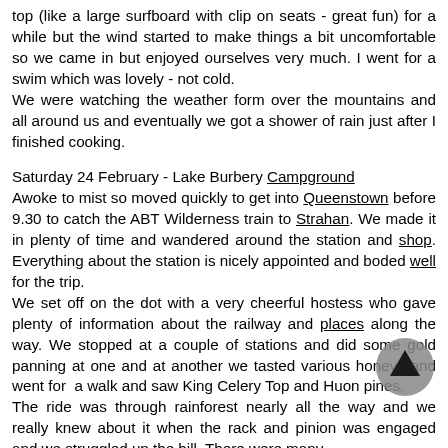top (like a large surfboard with clip on seats - great fun) for a while but the wind started to make things a bit uncomfortable so we came in but enjoyed ourselves very much. I went for a swim which was lovely - not cold.
We were watching the weather form over the mountains and all around us and eventually we got a shower of rain just after I finished cooking.

Saturday 24 February - Lake Burbery Campground
Awoke to mist so moved quickly to get into Queenstown before 9.30 to catch the ABT Wilderness train to Strahan. We made it in plenty of time and wandered around the station and shop. Everything about the station is nicely appointed and boded well for the trip.
We set off on the dot with a very cheerful hostess who gave plenty of information about the railway and places along the way. We stopped at a couple of stations and did some gold panning at one and at another we tasted various honeys and went for a walk and saw King Celery Top and Huon pines.
The ride was through rainforest nearly all the way and we really knew about it when the rack and pinion was engaged and we struggled up the hill. There were many
[Figure (other): Circular up-arrow navigation button, dark arrow on grey circle background]